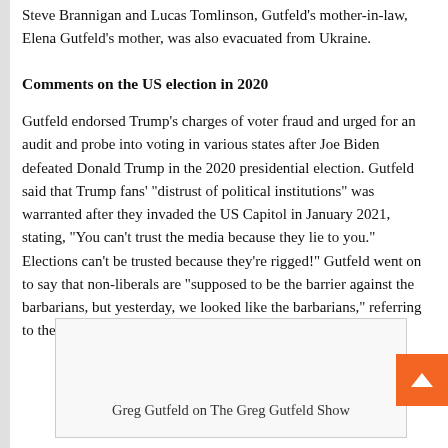Steve Brannigan and Lucas Tomlinson, Gutfeld's mother-in-law, Elena Gutfeld's mother, was also evacuated from Ukraine.
Comments on the US election in 2020
Gutfeld endorsed Trump's charges of voter fraud and urged for an audit and probe into voting in various states after Joe Biden defeated Donald Trump in the 2020 presidential election. Gutfeld said that Trump fans' “distrust of political institutions” was warranted after they invaded the US Capitol in January 2021, stating, “You can’t trust the media because they lie to you.” Elections can’t be trusted because they’re rigged!” Gutfeld went on to say that non-liberals are “supposed to be the barrier against the barbarians, but yesterday, we looked like the barbarians,” referring to the attack on the US Capitol and the ensuing bloodshed.
[Figure (photo): Greg Gutfeld on The Greg Gutfeld Show]
Greg Gutfeld on The Greg Gutfeld Show